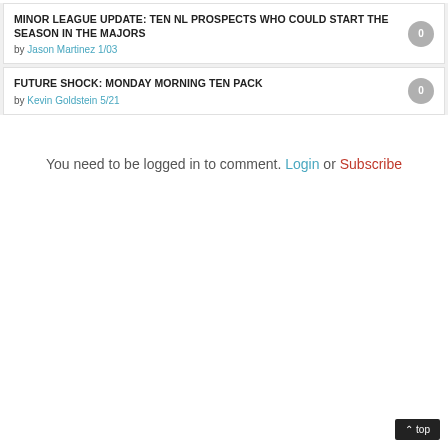MINOR LEAGUE UPDATE: TEN NL PROSPECTS WHO COULD START THE SEASON IN THE MAJORS
by Jason Martinez 1/03
FUTURE SHOCK: MONDAY MORNING TEN PACK
by Kevin Goldstein 5/21
You need to be logged in to comment. Login or Subscribe